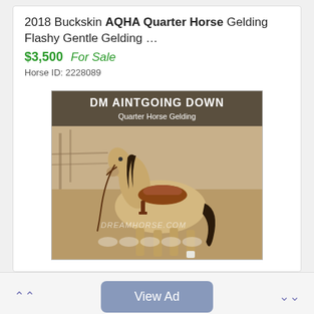2018 Buckskin AQHA Quarter Horse Gelding Flashy Gentle Gelding ...
$3,500  For Sale
Horse ID: 2228089
[Figure (photo): Buckskin Quarter Horse Gelding named DM AINTGOING DOWN, standing saddled in a field. Text overlay reads 'DM AINTGOING DOWN Quarter Horse Gelding'. Watermark 'DreamHorse.com' visible at bottom.]
View Ad
For Sale
SOLD HERE
Spotlight